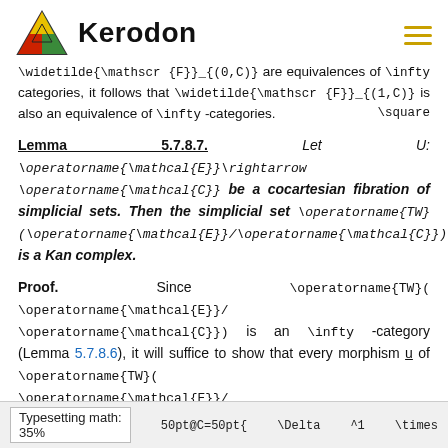Kerodon
\widetilde{\mathscr {F}}_{(0,C)} are equivalences of \infty-categories, it follows that \widetilde{\mathscr {F}}_{(1,C)} is also an equivalence of \infty-categories. \square
Lemma 5.7.8.7. Let U: \operatorname{\mathcal{E}}\rightarrow \operatorname{\mathcal{C}} be a cocartesian fibration of simplicial sets. Then the simplicial set \operatorname{TW}(\operatorname{\mathcal{E}}/\operatorname{\mathcal{C}}) is a Kan complex.
Proof. Since \operatorname{TW}( \operatorname{\mathcal{E}}/\operatorname{\mathcal{C}}) is an \infty-category (Lemma 5.7.8.6), it will suffice to show that every morphism u of \operatorname{TW}( \operatorname{\mathcal{E}}/\operatorname{\mathcal{C}}) is an isomorphism (Proposition 4.4.2.1). Let us identify u with a commutative diagram of simplicial sets
Typesetting math: 35%   50pt@C=50pt{   \Delta   ^1   \times